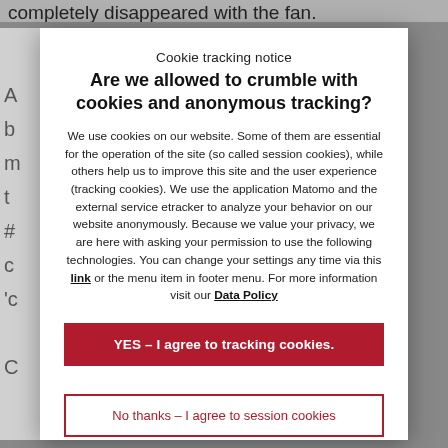completely disappeared with the fan.
A b m t # c 'c C l A
Cookie tracking notice
Are we allowed to crumble with cookies and anonymous tracking?
We use cookies on our website. Some of them are essential for the operation of the site (so called session cookies), while others help us to improve this site and the user experience (tracking cookies). We use the application Matomo and the external service etracker to analyze your behavior on our website anonymously. Because we value your privacy, we are here with asking your permission to use the following technologies. You can change your settings any time via this link or the menu item in footer menu. For more information visit our Data Policy
YES – I agree to tracking cookies.
No thanks – I agree to session cookies